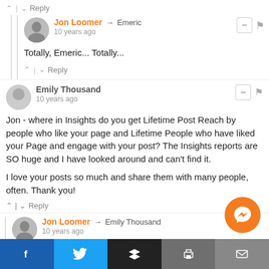^ | v Reply
Jon Loomer → Emeric
10 years ago
Totally, Emeric... Totally...
^ | v Reply
Emily Thousand
10 years ago
Jon - where in Insights do you get Lifetime Post Reach by people who like your page and Lifetime People who have liked your Page and engage with your post? The Insights reports are SO huge and I have looked around and can't find it.

I love your posts so much and share them with many people, often. Thank you!
^ | v Reply
Jon Loomer → Emily Thousand
10 years ago